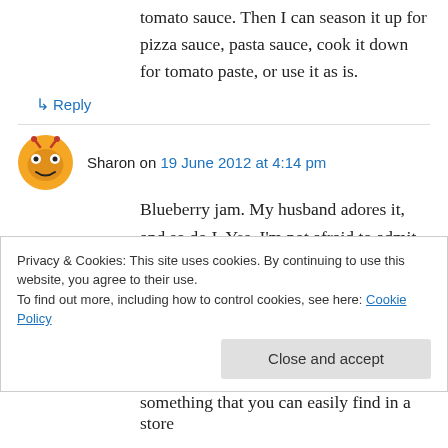tomato sauce. Then I can season it up for pizza sauce, pasta sauce, cook it down for tomato paste, or use it as is.
↳ Reply
Sharon on 19 June 2012 at 4:14 pm
Blueberry jam. My husband adores it, and so do I. Yes, I'm not afraid to admit it.
↳ Reply
Privacy & Cookies: This site uses cookies. By continuing to use this website, you agree to their use. To find out more, including how to control cookies, see here: Cookie Policy
Close and accept
something that you can easily find in a store